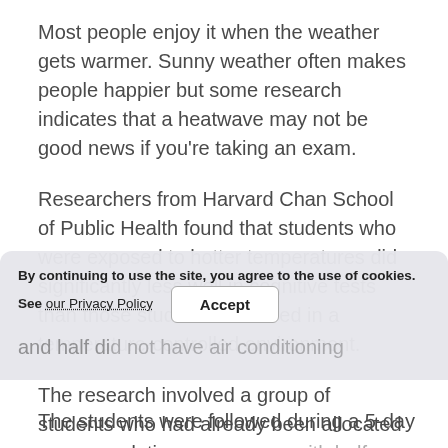Most people enjoy it when the weather gets warmer. Sunny weather often makes people happier but some research indicates that a heatwave may not be good news if you're taking an exam.
Researchers from Harvard Chan School of Public Health found that students who were exposed to hotter temperatures did significantly less well in cognitive tests than those students who lived in a temperature-controlled environment.
The research involved a group of students who had already been allocated accommodation on ca... and half di...
By continuing to use the site, you agree to the use of cookies. See our Privacy Policy   Accept
The students were followed during a 5-day